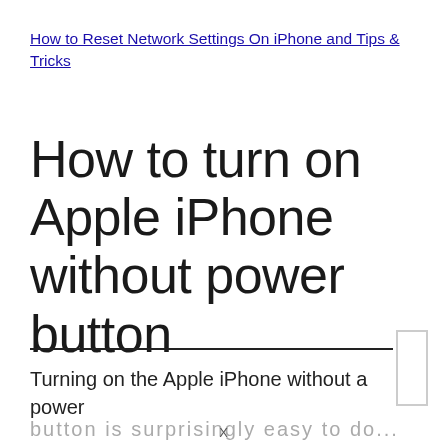How to Reset Network Settings On iPhone and Tips & Tricks
How to turn on Apple iPhone without power button
Turning on the Apple iPhone without a power button is surprisingly easy to do...